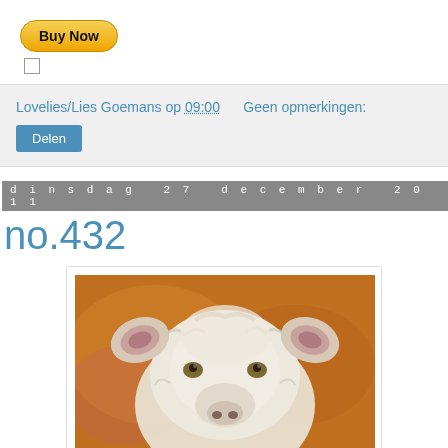[Figure (illustration): Yellow PayPal 'Buy Now' button with rounded corners and bold text]
[Figure (illustration): Small unchecked checkbox]
Lovelies/Lies Goemans op 09:00   Geen opmerkingen:
Delen
dinsdag 27 december 2011
no.432
[Figure (illustration): Oil painting of a white sheep/lamb with pink ears on an orange/amber background, facing forward]